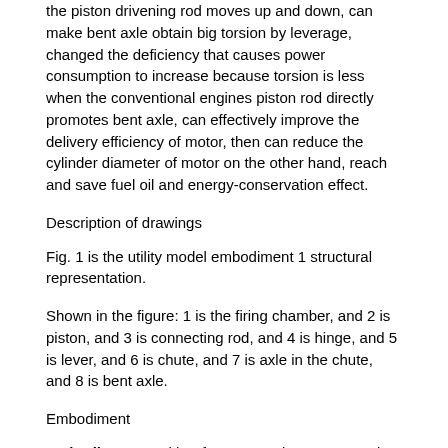the piston drivening rod moves up and down, can make bent axle obtain big torsion by leverage, changed the deficiency that causes power consumption to increase because torsion is less when the conventional engines piston rod directly promotes bent axle, can effectively improve the delivery efficiency of motor, then can reduce the cylinder diameter of motor on the other hand, reach and save fuel oil and energy-conservation effect.
Description of drawings
Fig. 1 is the utility model embodiment 1 structural representation.
Shown in the figure: 1 is the firing chamber, and 2 is piston, and 3 is connecting rod, and 4 is hinge, and 5 is lever, and 6 is chute, and 7 is axle in the chute, and 8 is bent axle.
Embodiment
Embodiment 1: With reference to Fig. 1, structural representation for the utility model embodiment 1, the upper end of connecting rod 3 is hinged by hinge 4 and lever 5, the other end of lever 5 and bent axle 8 are hinged, end at lever 5 close bent axles 8 is provided with chute 6, in